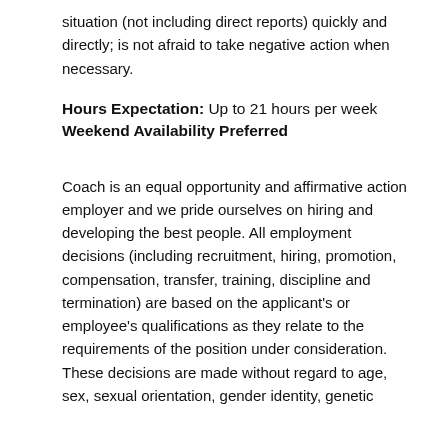situation (not including direct reports) quickly and directly; is not afraid to take negative action when necessary.
Hours Expectation: Up to 21 hours per week
Weekend Availability Preferred
Coach is an equal opportunity and affirmative action employer and we pride ourselves on hiring and developing the best people. All employment decisions (including recruitment, hiring, promotion, compensation, transfer, training, discipline and termination) are based on the applicant's or employee's qualifications as they relate to the requirements of the position under consideration. These decisions are made without regard to age, sex, sexual orientation, gender identity, genetic